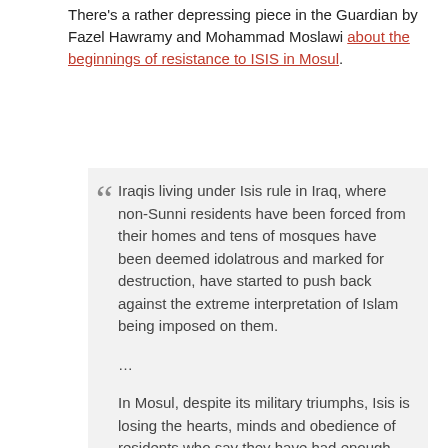There's a rather depressing piece in the Guardian by Fazel Hawramy and Mohammad Moslawi about the beginnings of resistance to ISIS in Mosul.
Iraqis living under Isis rule in Iraq, where non-Sunni residents have been forced from their homes and tens of mosques have been deemed idolatrous and marked for destruction, have started to push back against the extreme interpretation of Islam being imposed on them.

...

In Mosul, despite its military triumphs, Isis is losing the hearts, minds and obedience of residents who say they have had enough.

When its fighters destroyed the Nabi Jonah mosque (Jonah's tomb) in the Iraqi city last Thursday, they failed to removed copies of the Qur'an and other religious texts. Residents